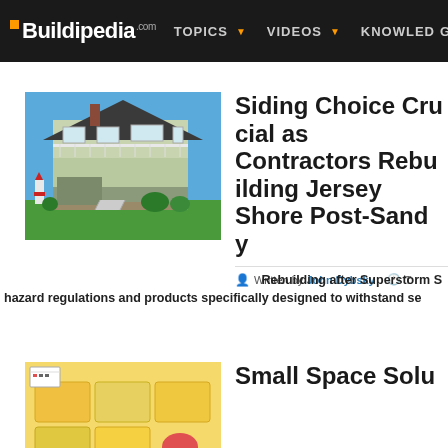Buildipedia.com | TOPICS | VIDEOS | KNOWLEDGE
Siding Choice Crucial as Contractors Rebuild Jersey Shore Post-Sandy
Written by John Dybsky
Rebuilding after Superstorm Sandy means navigating hazard regulations and products specifically designed to withstand severe weather.
[Figure (photo): Two-story coastal house with green siding, white railings, elevated on stilts, with landscaped lawn and lighthouse decoration]
Small Space Solutions